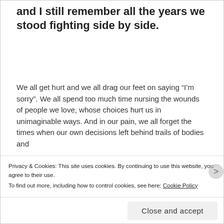and I still remember all the years we stood fighting side by side.
We all get hurt and we all drag our feet on saying “I’m sorry”. We all spend too much time nursing the wounds of people we love, whose choices hurt us in unimaginable ways. And in our pain, we all forget the times when our own decisions left behind trails of bodies and
Privacy & Cookies: This site uses cookies. By continuing to use this website, you agree to their use.
To find out more, including how to control cookies, see here: Cookie Policy
Close and accept